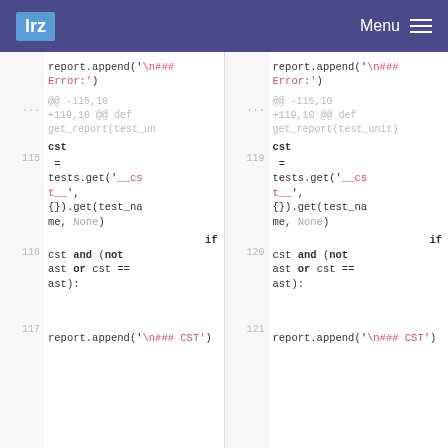lrz   Menu
[Figure (screenshot): Side-by-side diff view of Python source code showing two versions of a function. Left panel shows lines 115-117, right panel shows lines 119-121. Code includes report.append(), cst assignment with tests.get(), and conditional if cst and (not ast or cst == ast):]
report.append('\n### Error:') ... @@ -115,10 +119,10 @@ def get_report(test_un ... 115 cst = tests.get('__cst__', {}).get(test_name, None) 116 if cst and (not ast or cst == ast): 117 report.append('\n### CST') | 119 cst = tests.get('__cst__', {}).get(test_name, None) 120 if cst and (not ast or cst == ast): 121 report.append('\n### CST')